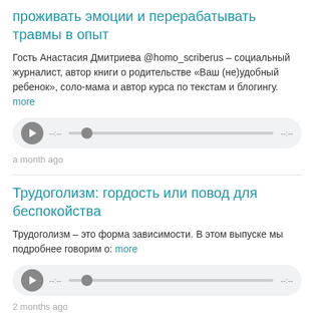проживать эмоции и перерабатывать травмы в опыт
Гость Анастасия Дмитриева @homo_scriberus – социальный журналист, автор книги о родительстве «Ваш (не)удобный ребенок», соло-мама и автор курса по текстам и блогингу. more
[Figure (other): Audio player widget with play button, progress bar and time indicators showing --:-- at start and --:-- at end]
a month ago
Трудоголизм: гордость или повод для беспокойства
Трудоголизм – это форма зависимости. В этом выпуске мы подробнее говорим о: more
[Figure (other): Audio player widget with play button, progress bar and time indicators showing --:-- at start and --:-- at end]
2 months ago